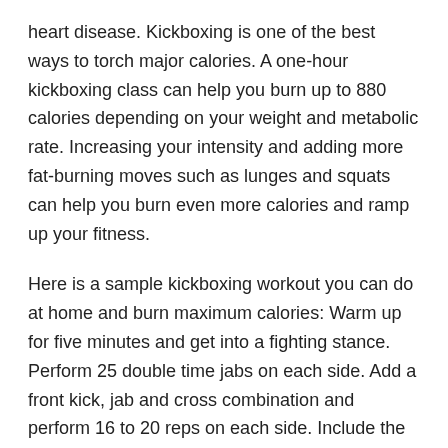heart disease. Kickboxing is one of the best ways to torch major calories. A one-hour kickboxing class can help you burn up to 880 calories depending on your weight and metabolic rate. Increasing your intensity and adding more fat-burning moves such as lunges and squats can help you burn even more calories and ramp up your fitness.
Here is a sample kickboxing workout you can do at home and burn maximum calories: Warm up for five minutes and get into a fighting stance. Perform 25 double time jabs on each side. Add a front kick, jab and cross combination and perform 16 to 20 reps on each side. Include the following additional moves and perform 16-20 reps each; speed bag with knee up, push-ups, roundhouse kick, sidekick with block and jumping jacks with jabs. Cool down.
Kettlebell Training